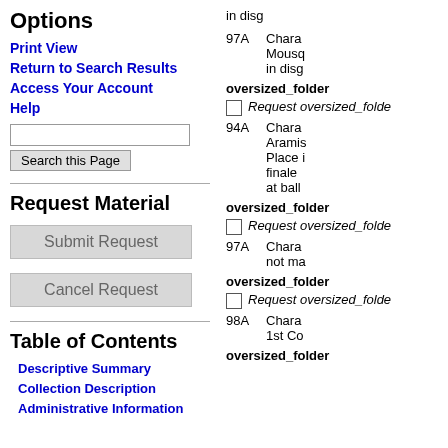Options
Print View
Return to Search Results
Access Your Account
Help
Search this Page
Request Material
Submit Request
Cancel Request
Table of Contents
Descriptive Summary
Collection Description
Administrative Information
in disg
97A  Chara Mousq in disg
oversized_folder
Request oversized_folde
94A  Chara Aramis Place i finale at ball
oversized_folder
Request oversized_folde
97A  Chara not ma
oversized_folder
Request oversized_folde
98A  Chara 1st Co
oversized_folder